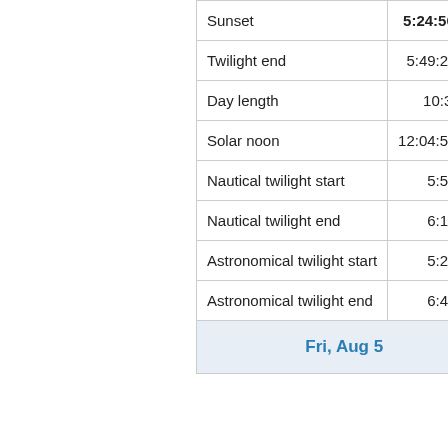|  |  |
| --- | --- |
| Sunset | 5:24:56 pm |
| Twilight end | 5:49:24 pm |
| Day length | 10:39:58 |
| Solar noon | 12:04:57 pm |
| Nautical twilight start | 5:51 am |
| Nautical twilight end | 6:18 pm |
| Astronomical twilight start | 5:22 am |
| Astronomical twilight end | 6:47 pm |
| Fri, Aug 5 |  |